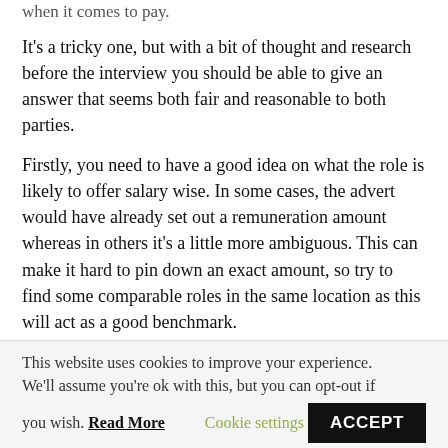when it comes to pay.
It's a tricky one, but with a bit of thought and research before the interview you should be able to give an answer that seems both fair and reasonable to both parties.
Firstly, you need to have a good idea on what the role is likely to offer salary wise. In some cases, the advert would have already set out a remuneration amount whereas in others it's a little more ambiguous. This can make it hard to pin down an exact amount, so try to find some comparable roles in the same location as this will act as a good benchmark.
If you're wondering what similar roles are paying in our region, then click here to join in with our 2017 salary survey and get the results straight to your inbox.
Next, consider if there are any circumstances that might
This website uses cookies to improve your experience. We'll assume you're ok with this, but you can opt-out if you wish. Read More Cookie settings ACCEPT